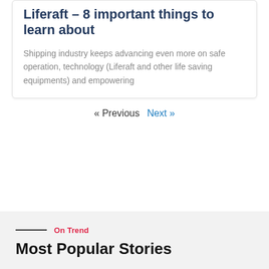Liferaft – 8 important things to learn about
Shipping industry keeps advancing even more on safe operation, technology (Liferaft and other life saving equipments) and empowering
« Previous  Next »
On Trend
Most Popular Stories